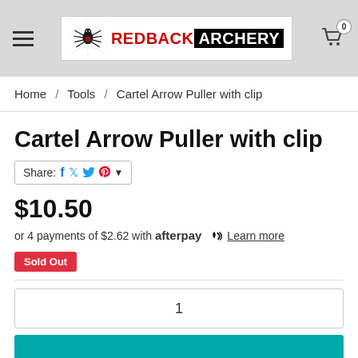Redback Archery — Navigation header with hamburger menu, logo, and cart (0 items)
Home / Tools / Cartel Arrow Puller with clip
Cartel Arrow Puller with clip
Share: [Facebook] [Twitter] [Pinterest] ▾
$10.50
or 4 payments of $2.62 with afterpay Learn more
Sold Out
1